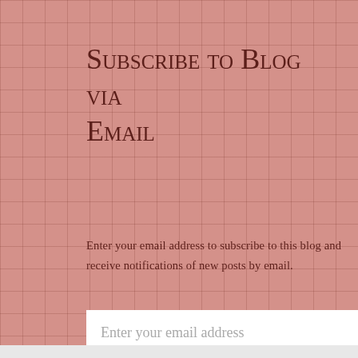Subscribe to Blog via Email
Enter your email address to subscribe to this blog and receive notifications of new posts by email.
Enter your email address
SUBSCRIBE
Privacy & Cookies: This site uses cookies. By continuing to use this website, you agree to their use. To find out more, including how to control cookies, see here: Cookie Policy
Close and accept